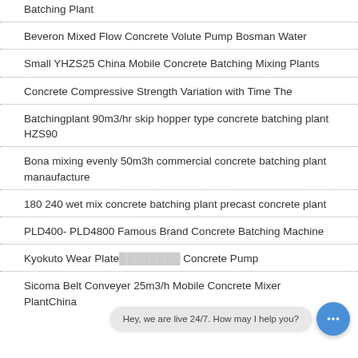Batching Plant
Beveron Mixed Flow Concrete Volute Pump Bosman Water
Small YHZS25 China Mobile Concrete Batching Mixing Plants
Concrete Compressive Strength Variation with Time The
Batchingplant 90m3/hr skip hopper type concrete batching plant HZS90
Bona mixing evenly 50m3h commercial concrete batching plant manaufacture
180 240 wet mix concrete batching plant precast concrete plant
PLD400- PLD4800 Famous Brand Concrete Batching Machine
Kyokuto Wear Plate … Concrete Pump
Sicoma Belt Conveyer 25m3/h Mobile Concrete Mixer PlantChina